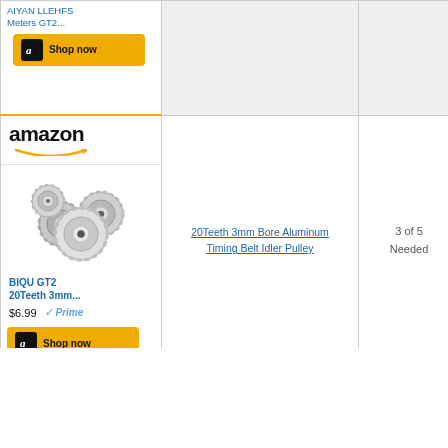[Figure (screenshot): Amazon product listing partial row - GT2 belt meters product with Shop now button, grey background in description and quantity columns]
[Figure (screenshot): Amazon product listing for BIQU GT2 20Teeth 3mm bore aluminum timing belt idler pulley, showing Amazon logo, product image of silver pulleys, price $6.99 with Prime badge, and Shop now button]
20Teeth 3mm Bore Aluminum Timing Belt Idler Pulley
3 of 5 Needed